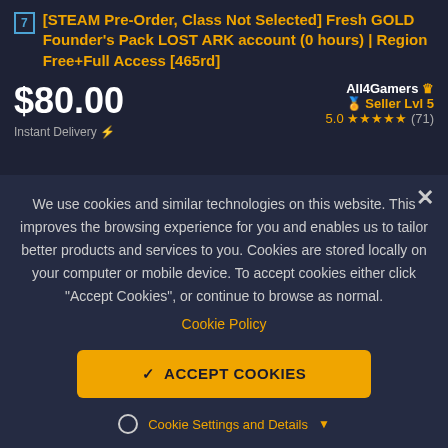[STEAM Pre-Order, Class Not Selected] Fresh GOLD Founder's Pack LOST ARK account (0 hours) | Region Free+Full Access [465rd]
$80.00
Instant Delivery
All4Gamers Seller Lvl 5 5.0 ★★★★★ (71)
We use cookies and similar technologies on this website. This improves the browsing experience for you and enables us to tailor better products and services to you. Cookies are stored locally on your computer or mobile device. To accept cookies either click "Accept Cookies", or continue to browse as normal.
Cookie Policy
ACCEPT COOKIES
Cookie Settings and Details